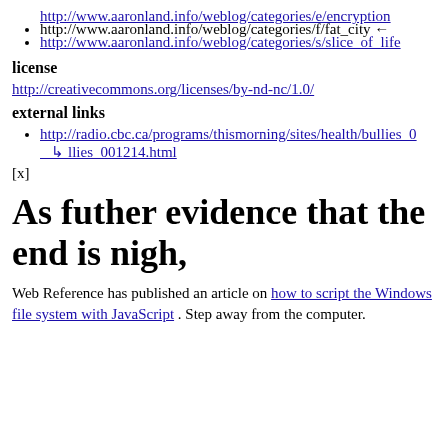http://www.aaronland.info/weblog/categories/e/encryption
http://www.aaronland.info/weblog/categories/f/fat_city ←
http://www.aaronland.info/weblog/categories/s/slice_of_life
license
http://creativecommons.org/licenses/by-nd-nc/1.0/
external links
http://radio.cbc.ca/programs/thismorning/sites/health/bullies_0 ↳ llies_001214.html
[x]
As futher evidence that the end is nigh,
Web Reference has published an article on how to script the Windows file system with JavaScript . Step away from the computer.